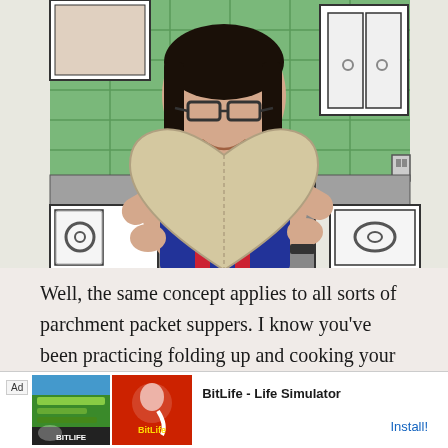[Figure (illustration): A woman smiling and holding a large heart-shaped piece of parchment paper, standing in front of a cartoon-illustrated kitchen background with green tile backsplash, white cabinets, and a stove.]
Well, the same concept applies to all sorts of parchment packet suppers. I know you've been practicing folding up and cooking your food in parchment, right? Well, now it's time to expand these
[Figure (other): Advertisement banner for BitLife - Life Simulator app, showing Ad label, app screenshots with green and red imagery, BitLife logo, app name, and Install button.]